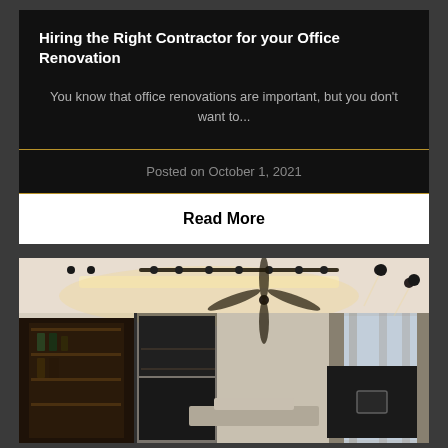Hiring the Right Contractor for your Office Renovation
You know that office renovations are important, but you don't want to...
Posted on October 1, 2021
Read More
[Figure (photo): Interior photo of a modern renovated living/office space with track lighting, ceiling fan, large windows with curtains, dark shelving unit with glass panels, and a bar area on the left.]